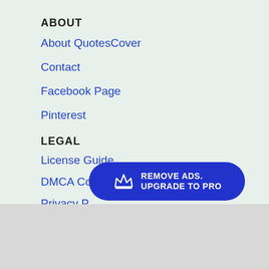ABOUT
About QuotesCover
Contact
Facebook Page
Pinterest
LEGAL
License Guide
DMCA Compli...
Privacy P...
Terms of Use
[Figure (other): Blue rounded button overlay with crown icon and text 'REMOVE ADS. UPGRADE TO PRO']
BY USING THIS WEBSITE, YOU AGREE TO OUR USE OF COOKIES. WE USE COOKIES TO PROVIDE YOU WITH A GREAT EXPERIENCE AND TO HELP OUR WEBSITE RUN EFFECTIVELY. READ OUR PRIVACY POLICY
CLOSE